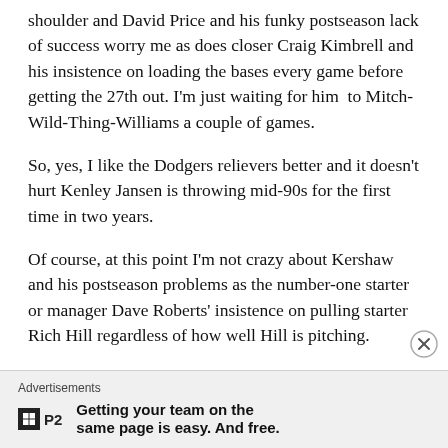shoulder and David Price and his funky postseason lack of success worry me as does closer Craig Kimbrell and his insistence on loading the bases every game before getting the 27th out. I'm just waiting for him to Mitch-Wild-Thing-Williams a couple of games.
So, yes, I like the Dodgers relievers better and it doesn't hurt Kenley Jansen is throwing mid-90s for the first time in two years.
Of course, at this point I'm not crazy about Kershaw and his postseason problems as the number-one starter or manager Dave Roberts' insistence on pulling starter Rich Hill regardless of how well Hill is pitching.
Advertisements
Getting your team on the same page is easy. And free.